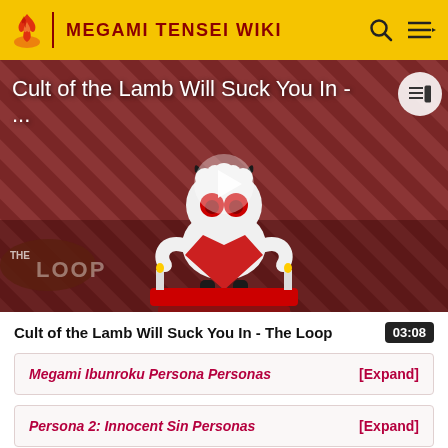MEGAMI TENSEI WIKI
[Figure (screenshot): Video thumbnail for 'Cult of the Lamb Will Suck You In - The Loop' showing an animated lamb character on a red and dark striped background with 'THE LOOP' text logo visible. A play button is centered on the thumbnail.]
Cult of the Lamb Will Suck You In - The Loop   03:08
Megami Ibunroku Persona Personas   [Expand]
Persona 2: Innocent Sin Personas   [Expand]